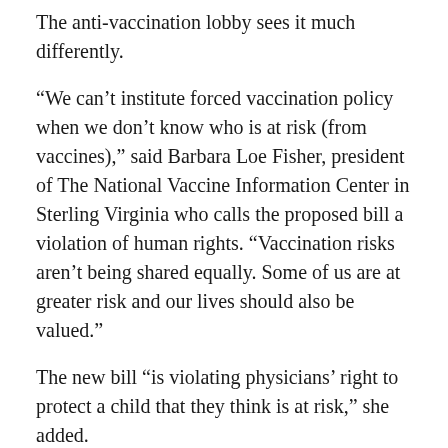The anti-vaccination lobby sees it much differently.
“We can’t institute forced vaccination policy when we don’t know who is at risk (from vaccines),” said Barbara Loe Fisher, president of The National Vaccine Information Center in Sterling Virginia who calls the proposed bill a violation of human rights. “Vaccination risks aren’t being shared equally. Some of us are at greater risk and our lives should also be valued.”
The new bill “is violating physicians’ right to protect a child that they think is at risk,” she added.
She said that parents are going to do whatever they have to do to protect their children from vaccination injury, including homeschooling them. “People are